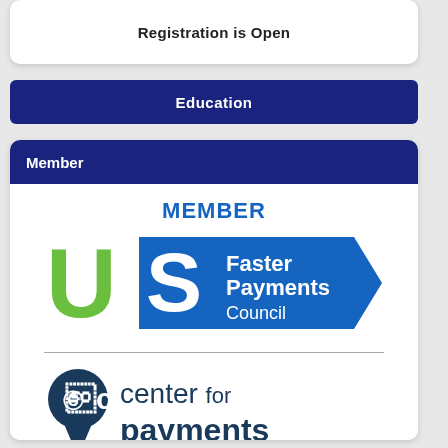Registration is Open
Education
Member
[Figure (logo): US Faster Payments Council member logo with green U and S letters and blue arrow-shaped badge reading Faster Payments Council]
[Figure (logo): Center for Payments logo with dark blue C location pin icon and text reading center for payments]